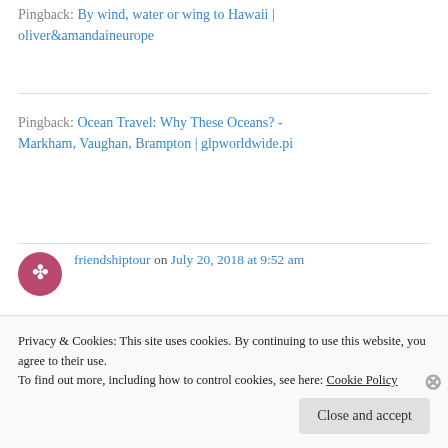Pingback: By wind, water or wing to Hawaii | oliver&amandaineurope
Pingback: Ocean Travel: Why These Oceans? - Markham, Vaughan, Brampton | glpworldwide.pi
friendshiptour on July 20, 2018 at 9:52 am
Curious. How can you say these other places are more remote when the closest land masses to the Hawaiian islands are False Pt Alaska
Privacy & Cookies: This site uses cookies. By continuing to use this website, you agree to their use.
To find out more, including how to control cookies, see here: Cookie Policy